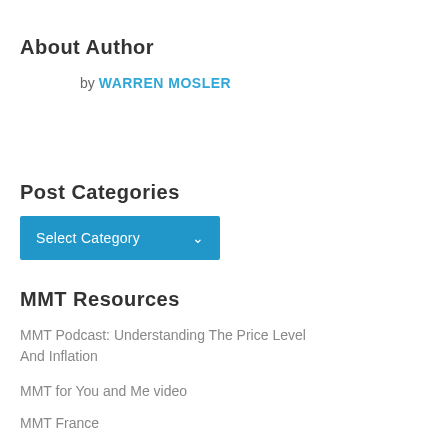About Author
by WARREN MOSLER
Post Categories
Select Category
MMT Resources
MMT Podcast: Understanding The Price Level And Inflation
MMT for You and Me video
MMT France